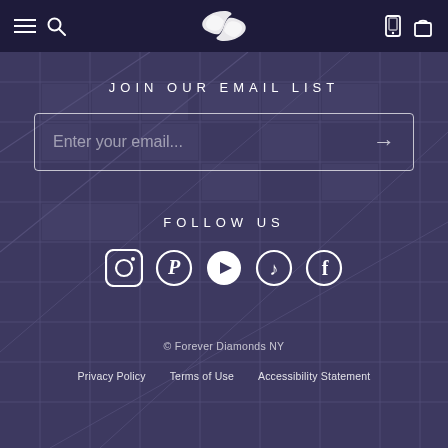Forever Diamonds NY navigation bar with hamburger menu, search, logo, phone and bag icons
JOIN OUR EMAIL LIST
Enter your email...
FOLLOW US
[Figure (infographic): Social media icons row: Instagram, Pinterest, YouTube, TikTok, Facebook]
© Forever Diamonds NY
Privacy Policy   Terms of Use   Accessibility Statement